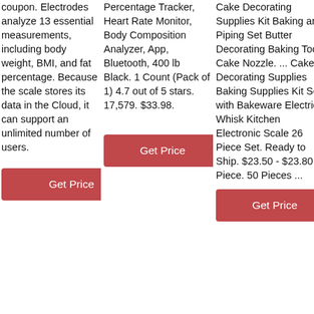coupon. Electrodes analyze 13 essential measurements, including body weight, BMI, and fat percentage. Because the scale stores its data in the Cloud, it can support an unlimited number of users.
Get Price
Percentage Tracker, Heart Rate Monitor, Body Composition Analyzer, App, Bluetooth, 400 lb Black. 1 Count (Pack of 1) 4.7 out of 5 stars. 17,579. $33.98.
Get Price
Cake Decorating Supplies Kit Baking and Piping Set Butter Decorating Baking Tool Cake Nozzle. ... Cake Decorating Supplies Baking Supplies Kit Set with Bakeware Electric Whisk Kitchen Electronic Scale 26 Piece Set. Ready to Ship. $23.50 - $23.80 Piece. 50 Pieces ...
Get Price